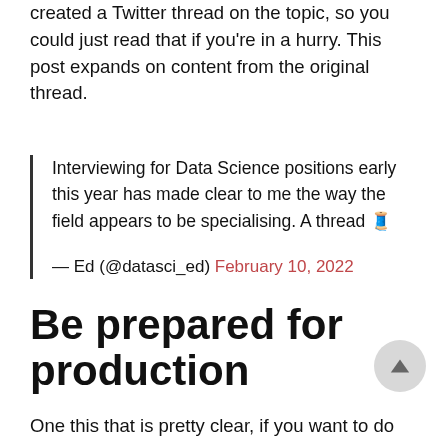created a Twitter thread on the topic, so you could just read that if you’re in a hurry. This post expands on content from the original thread.
Interviewing for Data Science positions early this year has made clear to me the way the field appears to be specialising. A thread 🧵 — Ed (@datasci_ed) February 10, 2022
Be prepared for production
One this that is pretty clear, if you want to do